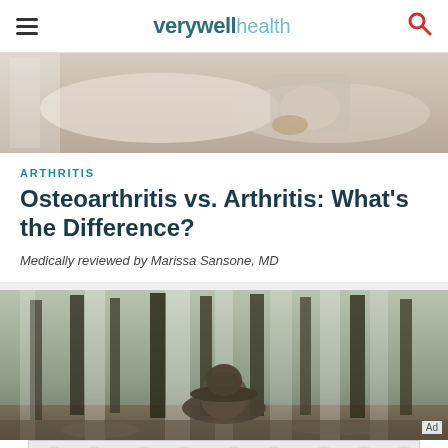verywell health
[Figure (photo): Close-up of a person sitting on a bed, hands clasped together on their knee, wearing a light plaid shirt]
ARTHRITIS
Osteoarthritis vs. Arthritis: What’s the Difference?
Medically reviewed by Marissa Sansone, MD
[Figure (photo): A blurred forest of tall pine trees with a person wearing a hat visible in the foreground]
[Figure (other): Advertisement banner with repeating circular pattern in light grey]